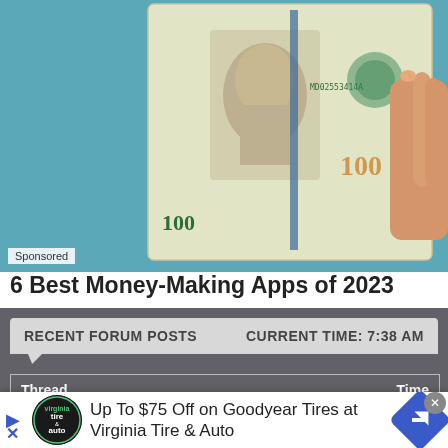[Figure (photo): A hand holding a US $100 bill against a teal/blue background. The bill shows Benjamin Franklin's portrait and serial number MD02553414A.]
Sponsored
6 Best Money-Making Apps of 2023
| RECENT FORUM POSTS | CURRENT TIME: 7:38 AM |
| --- | --- |
| Thread | Time |
| --- | --- |
| Climbing partners for glaciated PNW... | 11:22 |
| Personal Websites | 11:27 |
[Figure (advertisement): Ad banner: Up To $75 Off on Goodyear Tires at Virginia Tire & Auto. Shows Virginia Tire & Auto logo on the left and a blue navigation arrow icon on the right.]